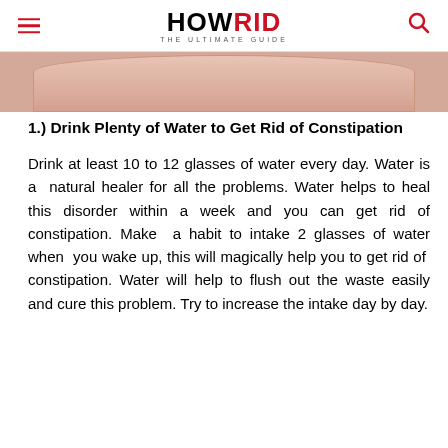HOWRID THE ULTIMATE GUIDE
[Figure (photo): Close-up of a person's midsection/belly area wearing a white shirt, showing skin tone, cropped at top]
1.) Drink Plenty of Water to Get Rid of Constipation
Drink at least 10 to 12 glasses of water every day. Water is a  natural healer for all the problems. Water helps to heal this disorder within a week and you can get rid of constipation. Make  a habit to intake 2 glasses of water when  you wake up, this will magically help you to get rid of  constipation.  Water  will  help  to  flush  out  the  waste easily  and  cure  this  problem.  Try  to  increase  the  intake day by day.